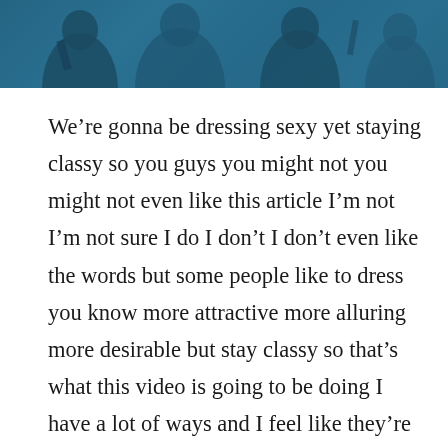[Figure (photo): Dark teal/blue tinted banner image showing silhouettes of people, partially visible at the top of the page]
We're gonna be dressing sexy yet staying classy so you guys you might not you might not even like this article I'm not I'm not sure I do I don't I don't even like the words but some people like to dress you know more attractive more alluring more desirable but stay classy so that's what this video is going to be doing I have a lot of ways and I feel like they're really good ways.